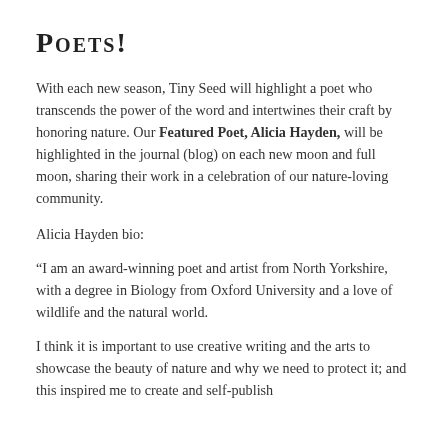Poets!
With each new season, Tiny Seed will highlight a poet who transcends the power of the word and intertwines their craft by honoring nature. Our Featured Poet, Alicia Hayden, will be highlighted in the journal (blog) on each new moon and full moon, sharing their work in a celebration of our nature-loving community.
Alicia Hayden bio:
“I am an award-winning poet and artist from North Yorkshire, with a degree in Biology from Oxford University and a love of wildlife and the natural world.
I think it is important to use creative writing and the arts to showcase the beauty of nature and why we need to protect it; and this inspired me to create and self-publish